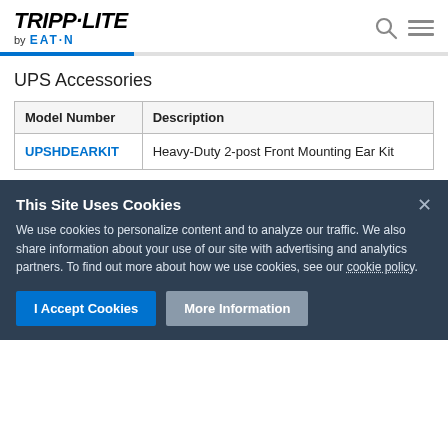[Figure (logo): Tripp-Lite by Eaton logo in the top left, with search and hamburger menu icons top right]
UPS Accessories
| Model Number | Description |
| --- | --- |
| UPSHDEARKIT | Heavy-Duty 2-post Front Mounting Ear Kit |
This Site Uses Cookies
We use cookies to personalize content and to analyze our traffic. We also share information about your use of our site with advertising and analytics partners. To find out more about how we use cookies, see our cookie policy.
I Accept Cookies
More Information